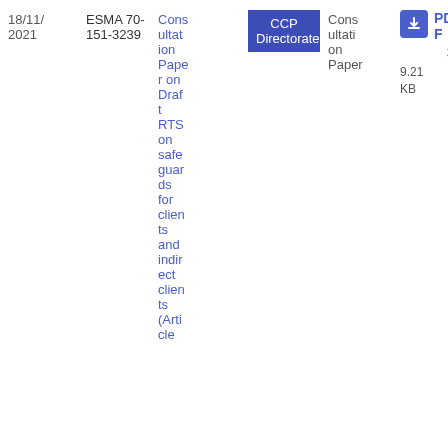| Date | Reference | Title | Directorate | Type | Download |
| --- | --- | --- | --- | --- | --- |
| 18/11/2021 | ESMA 70-151-3239 | Consultation Paper on Draft RTS on safeguards for clients and indirect clients (Article ... | CCP Directorate | Consultation Paper | PDF 39 9.21 KB |